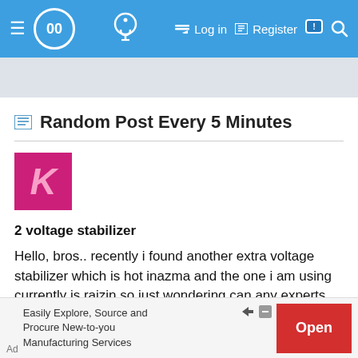Random Post Every 5 Minutes — navigation bar with logo, login, register, search
Random Post Every 5 Minutes
[Figure (illustration): User avatar: pink/magenta square with italic letter K in lighter pink]
2 voltage stabilizer
Hello, bros.. recently i found another extra voltage stabilizer which is hot inazma and the one i am using currently is raizin so just wondering can any experts here tell me that whether a not i can install both of the voltage stabilizer in my wira ?? meaning 2 voltage stabilizer, will it causes more harm than good?
Ad  Easily Explore, Source and Procure New-to-you Manufacturing Services  Open